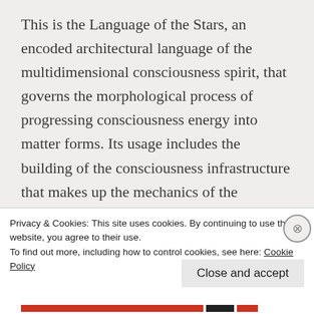This is the Language of the Stars, an encoded architectural language of the multidimensional consciousness spirit, that governs the morphological process of progressing consciousness energy into matter forms. Its usage includes the building of the consciousness infrastructure that makes up the mechanics of the dimensional layers of the holographic reality, using complex instruction sets filled with light symbols
Privacy & Cookies: This site uses cookies. By continuing to use this website, you agree to their use.
To find out more, including how to control cookies, see here: Cookie Policy
Close and accept